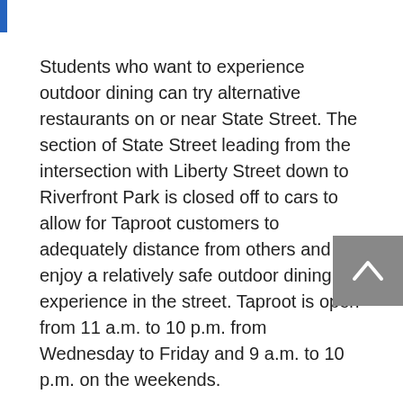Students who want to experience outdoor dining can try alternative restaurants on or near State Street. The section of State Street leading from the intersection with Liberty Street down to Riverfront Park is closed off to cars to allow for Taproot customers to adequately distance from others and enjoy a relatively safe outdoor dining experience in the street. Taproot is open from 11 a.m. to 10 p.m. from Wednesday to Friday and 9 a.m. to 10 p.m. on the weekends.
Turning right off State Street onto Liberty, one can also try 503 Sushi, a